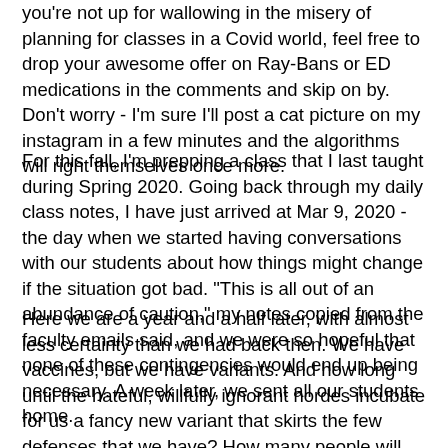you're not up for wallowing in the misery of planning for classes in a Covid world, feel free to drop your awesome offer on Ray-Bans or ED medications in the comments and skip on by. Don't worry - I'm sure I'll post a cat picture on my instagram in a few minutes and the algorithms will right themselves once more.
For this fall, I'm prepping a class that I last taught during Spring 2020. Going back through my daily class notes, I have just arrived at Mar 9, 2020 - the day when we started having conversations with our students about how things might change if the situation got bad. "This is all out of an abundance of caution," my notes copied from the faculty emails said, and we were so hopeful that none of these contingencies would end up being necessary. A week later, we sent all our students home.
Here we are a year and a half later, with almost less certainty than we had back then. We have vaccines, but we have variants. And how long until the hateful, willfully ignorant hordes incubate for us a fancy new variant that skirts the few defenses that we have? How many people will be sacrificed to the egos of our stubborn politicians and our myopic